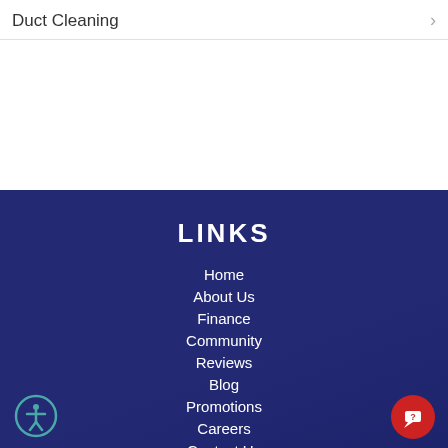Duct Cleaning
LINKS
Home
About Us
Finance
Community
Reviews
Blog
Promotions
Careers
Contact Us
Machine Readable Files
Privacy Policy